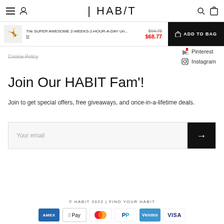HABIT — navigation header with menu, user, search, and bag icons
The SUPER AWESOME 2-WEEKS-1-HOUR-A-DAY Un... M  $94.75  $68.77  ADD TO BAG
Cookie Policy
Pinterest
Instagram
Join Our HABIT Fam'!
Join to get special offers, free giveaways, and once-in-a-lifetime deals.
Your email
© HABIT 2022 | FIND YOUR HABIT